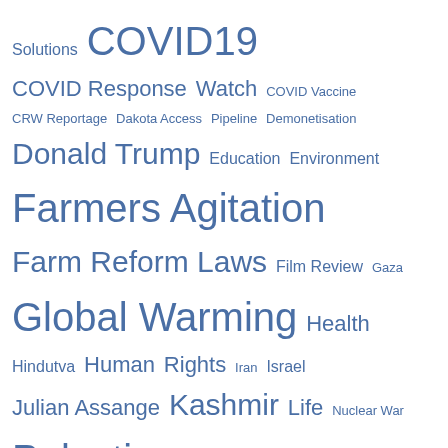[Figure (infographic): Tag cloud / word cloud with topic keywords in various sizes rendered in blue-grey color. Topics include Solutions, COVID19, COVID Response, Watch, COVID Vaccine, CRW Reportage, Dakota Access, Pipeline, Demonetisation, Donald Trump, Education, Environment, Farmers Agitation, Farm Reform Laws, Film Review, Gaza, Global Warming, Health, Hindutva, Human Rights, Iran, Israel, Julian Assange, Kashmir, Life, Nuclear War, Palestine, Poetry, RSS, Sri Lanka, Standing Rock Sioux Protest, Syria, The Commons, Ukraine, US Election 2020, US Elections 2016, Venezuela, Yemen.]